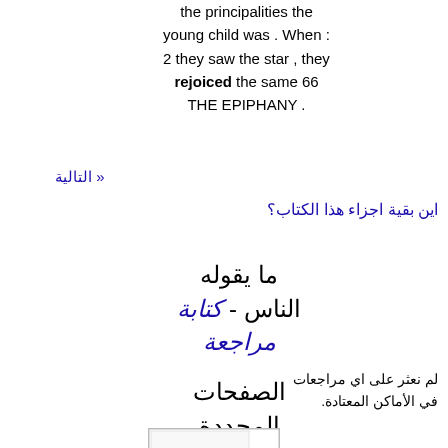the principalities the young child was . When : 2 they saw the star , they rejoiced the same 66 THE EPIPHANY .
« التالية
اين بقية اجزاء هذا الكتاب؟
ما يقوله الناس - كتابة مراجعة
لم نعثر على اي مراجعات في الأماكن المعتادة.
الصفحات المحددة
[Figure (other): Thumbnail of a selected page from the book]